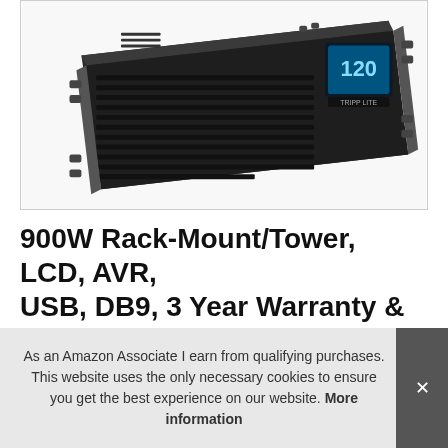[Figure (photo): Photo of a Tripp Lite 900W rack-mount/tower UPS unit, black, with blue LCD display showing 120, rack-mount ears visible, angled product shot on white background]
900W Rack-Mount/Tower, LCD, AVR, USB, DB9, 3 Year Warranty & Dollar 25 SN Ba
As an Amazon Associate I earn from qualifying purchases. This website uses the only necessary cookies to ensure you get the best experience on our website. More information